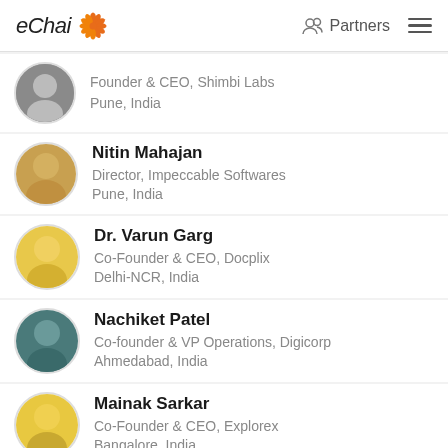eChai | Partners
Founder & CEO, Shimbi Labs
Pune, India
Nitin Mahajan
Director, Impeccable Softwares
Pune, India
Dr. Varun Garg
Co-Founder & CEO, Docplix
Delhi-NCR, India
Nachiket Patel
Co-founder & VP Operations, Digicorp
Ahmedabad, India
Mainak Sarkar
Co-Founder & CEO, Explorex
Bangalore, India
Vikas Goel
Co-Founder & CEO, EsportsXO
Bangalore, India